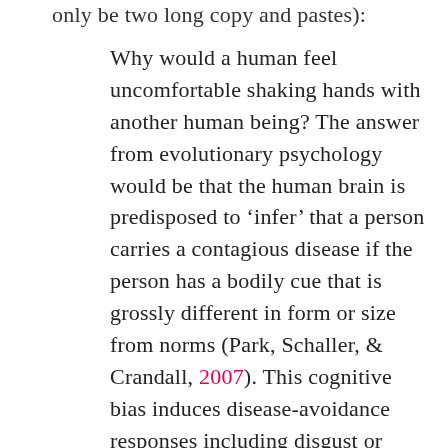only be two long copy and pastes):
Why would a human feel uncomfortable shaking hands with another human being? The answer from evolutionary psychology would be that the human brain is predisposed to ‘infer’ that a person carries a contagious disease if the person has a bodily cue that is grossly different in form or size from norms (Park, Schaller, & Crandall, 2007). This cognitive bias induces disease-avoidance responses including disgust or avoidance of physical contact with the possessor of unusual bodily cues